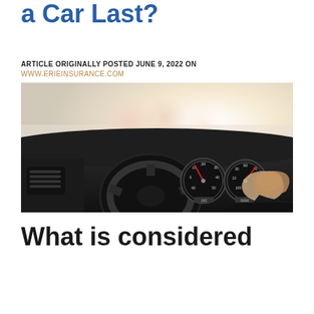a Car Last?
ARTICLE ORIGINALLY POSTED JUNE 9, 2022 ON
WWW.ERIEINSURANCE.COM
[Figure (photo): Interior view from driver's perspective showing dashboard, steering wheel, and speedometer/gauges with blurred road and traffic ahead through windshield.]
What is considered